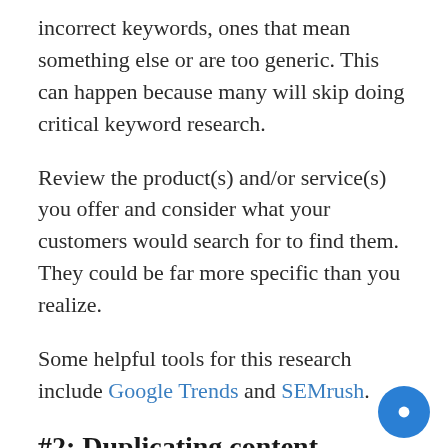incorrect keywords, ones that mean something else or are too generic. This can happen because many will skip doing critical keyword research.
Review the product(s) and/or service(s) you offer and consider what your customers would search for to find them. They could be far more specific than you realize.
Some helpful tools for this research include Google Trends and SEMrush.
#2: Duplicating content